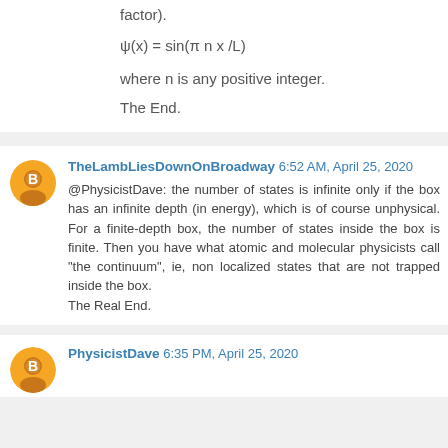factor).
where n is any positive integer.
The End.
TheLambLiesDownOnBroadway 6:52 AM, April 25, 2020
@PhysicistDave: the number of states is infinite only if the box has an infinite depth (in energy), which is of course unphysical. For a finite-depth box, the number of states inside the box is finite. Then you have what atomic and molecular physicists call "the continuum", ie, non localized states that are not trapped inside the box. The Real End.
PhysicistDave 6:35 PM, April 25, 2020